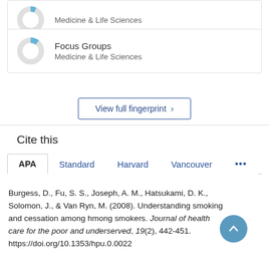[Figure (donut-chart): Partial donut chart showing a small blue segment, Medicine & Life Sciences category]
Medicine & Life Sciences
[Figure (donut-chart): Donut chart showing a small blue segment for Focus Groups, Medicine & Life Sciences]
Focus Groups
Medicine & Life Sciences
View full fingerprint >
Cite this
APA	Standard	Harvard	Vancouver	...
Burgess, D., Fu, S. S., Joseph, A. M., Hatsukami, D. K., Solomon, J., & Van Ryn, M. (2008). Understanding smoking and cessation among hmong smokers. Journal of health care for the poor and underserved, 19(2), 442-451. https://doi.org/10.1353/hpu.0.0022